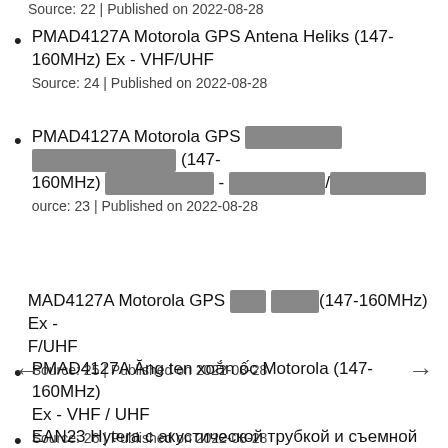PMAD4127A Motorola GPS Antena Heliks (147-160MHz) Ex - VHF/UHF
Source: 22 | Published on 2022-08-28
PMAD4127A Motorola GPS Antena Heliks (147-160MHz) Ex - VHF/UHF
Source: 24 | Published on 2022-08-28
PMAD4127A Motorola GPS [redacted] [redacted] (147-160MHz) [redacted] - [redacted]/[redacted]
Source: 23 | Published on 2022-08-28
PMAD4127A Motorola GPS [redacted] [redacted](147-160MHz) Ex - VHF/UHF
Source: 25 | Published on 2022-08-28
PMAD4127A Ăng ten xoắn ốc Motorola (147-160MHz) Ex - VHF / UHF
Source: 26 | Published on 2022-08-28
EAN23 Hytera с акустической трубкой и съемной